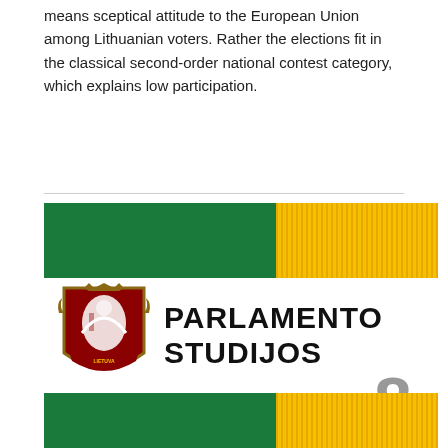means sceptical attitude to the European Union among Lithuanian voters. Rather the elections fit in the classical second-order national contest category, which explains low participation.
[Figure (illustration): Cover of Parlamento Studijos journal, issue 8, 2009. Features a green and gold/yellow textured two-column background design, Lithuanian coat of arms on the left, and bold black text 'PARLAMENTO STUDIJOS' with large grey number '8' and year '2009'.]